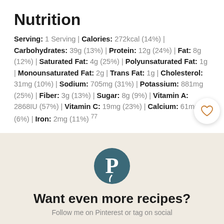Nutrition
Serving: 1 Serving | Calories: 272kcal (14%) | Carbohydrates: 39g (13%) | Protein: 12g (24%) | Fat: 8g (12%) | Saturated Fat: 4g (25%) | Polyunsaturated Fat: 1g | Monounsaturated Fat: 2g | Trans Fat: 1g | Cholesterol: 31mg (10%) | Sodium: 705mg (31%) | Potassium: 881mg (25%) | Fiber: 3g (13%) | Sugar: 8g (9%) | Vitamin A: 2868IU (57%) | Vitamin C: 19mg (23%) | Calcium: 61mg (6%) | Iron: 2mg (11%) 77
[Figure (logo): Pinterest logo icon - circular teal/dark teal P icon]
Want even more recipes?
Follow me on Pinterest or tag on social